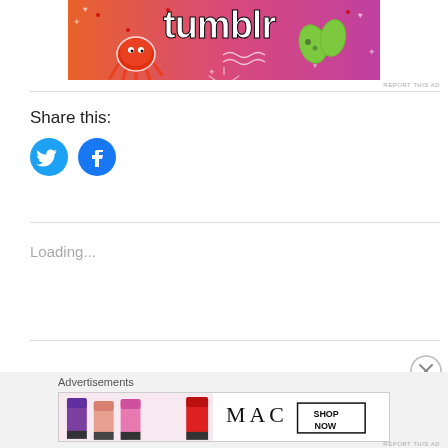[Figure (illustration): Tumblr banner advertisement with colorful orange-to-pink gradient background, white illustrated decorations (hearts, stars, sun, waves), a sun/octopus character, green leaf stickers, and the 'tumblr' wordmark in large black bold text]
REPORT THIS AD
Share this:
[Figure (illustration): Twitter share button - cyan circle with white Twitter bird icon]
[Figure (illustration): Facebook share button - blue circle with white Facebook 'f' icon]
Loading...
Advertisements
[Figure (illustration): MAC cosmetics advertisement banner showing colorful lipsticks on left side, MAC logo text, and a 'SHOP NOW' box on white background]